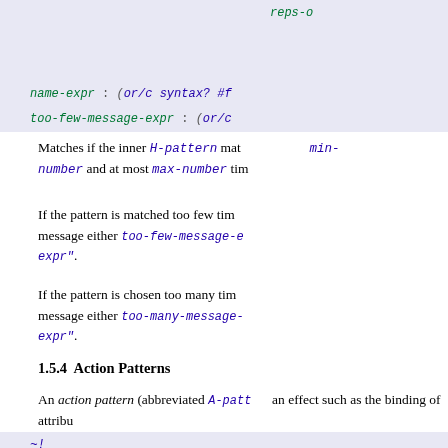[Figure (screenshot): Code block showing reps-o... and name-expr : (or/c syntax? #f... and too-few-message-expr : (or/c... on blue-tinted background]
Matches if the inner H-pattern matches at least min-number and at most max-number times.
If the pattern is matched too few times, the error message either too-few-message-expr or "the name-expr".
If the pattern is chosen too many times, the error message either too-many-message-... or "the name-expr".
1.5.4  Action Patterns
An action pattern (abbreviated A-patt) is a pattern that has an effect such as the binding of attribu...
[Figure (screenshot): Code block showing ~!]